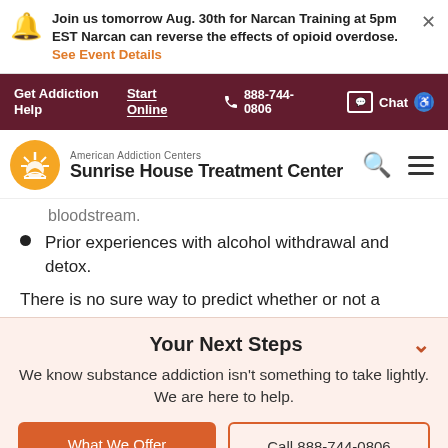Join us tomorrow Aug. 30th for Narcan Training at 5pm EST Narcan can reverse the effects of opioid overdose. See Event Details
Get Addiction Help | Start Online | 888-744-0806 | Chat
American Addiction Centers Sunrise House Treatment Center
bloodstream.
Prior experiences with alcohol withdrawal and detox.
There is no sure way to predict whether or not a
Your Next Steps
We know substance addiction isn't something to take lightly. We are here to help.
What We Offer | Call 888-744-0806